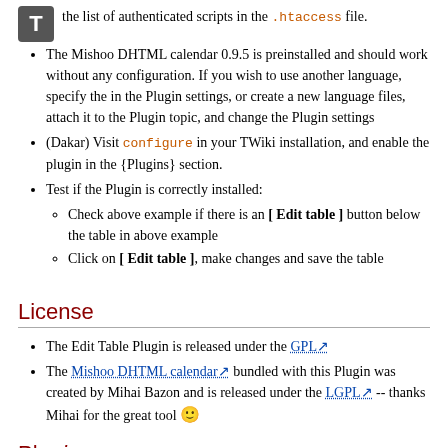the list of authenticated scripts in the .htaccess file.
The Mishoo DHTML calendar 0.9.5 is preinstalled and should work without any configuration. If you wish to use another language, specify the in the Plugin settings, or create a new language files, attach it to the Plugin topic, and change the Plugin settings
(Dakar) Visit configure in your TWiki installation, and enable the plugin in the {Plugins} section.
Test if the Plugin is correctly installed:
Check above example if there is an [ Edit table ] button below the table in above example
Click on [ Edit table ], make changes and save the table
License
The Edit Table Plugin is released under the GPL
The Mishoo DHTML calendar bundled with this Plugin was created by Mihai Bazon and is released under the LGPL -- thanks Mihai for the great tool 🙂